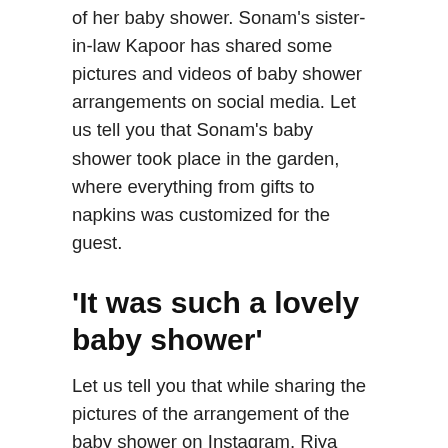of her baby shower. Sonam's sister-in-law Kapoor has shared some pictures and videos of baby shower arrangements on social media. Let us tell you that Sonam's baby shower took place in the garden, where everything from gifts to napkins was customized for the guest.
'It was such a lovely baby shower'
Let us tell you that while sharing the pictures of the arrangement of the baby shower on Instagram, Riya wrote – It was a very cute baby shower. Not only this, Sonam's name was also written on the tablecloth. Along with this, Riya